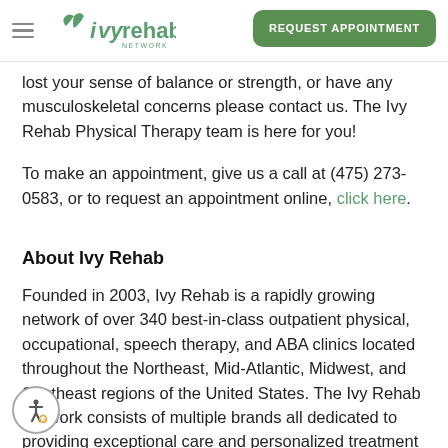Ivy Rehab Network | REQUEST APPOINTMENT
lost your sense of balance or strength, or have any musculoskeletal concerns please contact us. The Ivy Rehab Physical Therapy team is here for you!
To make an appointment, give us a call at (475) 273-0583, or to request an appointment online, click here.
About Ivy Rehab
Founded in 2003, Ivy Rehab is a rapidly growing network of over 340 best-in-class outpatient physical, occupational, speech therapy, and ABA clinics located throughout the Northeast, Mid-Atlantic, Midwest, and Southeast regions of the United States. The Ivy Rehab Network consists of multiple brands all dedicated to providing exceptional care and personalized treatment to get patients feeling better faster...